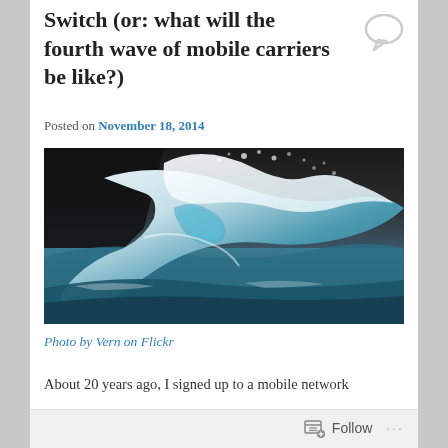Switch (or: what will the fourth wave of mobile carriers be like?)
Posted on November 18, 2014
[Figure (photo): Large ocean wave curling and crashing, photographed close-up with blue and white tones against a dark rocky background]
Photo by Vern on Flickr
About 20 years ago, I signed up to a mobile network